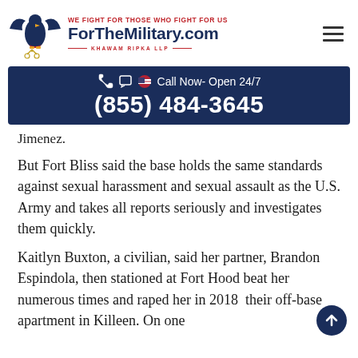WE FIGHT FOR THOSE WHO FIGHT FOR US ForTheMilitary.com KHAWAM RIPKA LLP
[Figure (infographic): Call Now - Open 24/7 phone number banner: (855) 484-3645]
Jimenez.
But Fort Bliss said the base holds the same standards against sexual harassment and sexual assault as the U.S. Army and takes all reports seriously and investigates them quickly.
Kaitlyn Buxton, a civilian, said her partner, Brandon Espindola, then stationed at Fort Hood beat her numerous times and raped her in 2018 at their off-base apartment in Killeen. On one